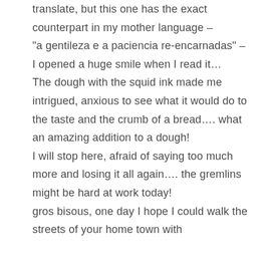translate, but this one has the exact counterpart in my mother language – "a gentileza e a paciencia re-encarnadas" – I opened a huge smile when I read it… The dough with the squid ink made me intrigued, anxious to see what it would do to the taste and the crumb of a bread…. what an amazing addition to a dough! I will stop here, afraid of saying too much more and losing it all again…. the gremlins might be hard at work today! gros bisous, one day I hope I could walk the streets of your home town with